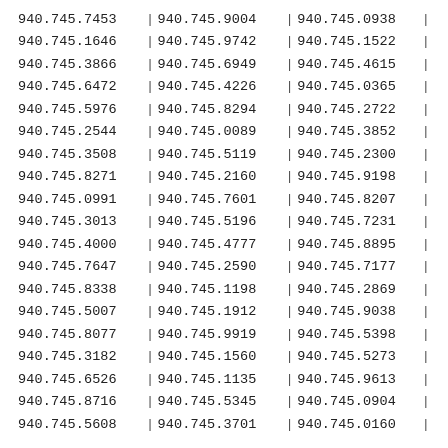| 940.745.7453 | 940.745.9004 | 940.745.0938 |
| 940.745.1646 | 940.745.9742 | 940.745.1522 |
| 940.745.3866 | 940.745.6949 | 940.745.4615 |
| 940.745.6472 | 940.745.4226 | 940.745.0365 |
| 940.745.5976 | 940.745.8294 | 940.745.2722 |
| 940.745.2544 | 940.745.0089 | 940.745.3852 |
| 940.745.3508 | 940.745.5119 | 940.745.2300 |
| 940.745.8271 | 940.745.2160 | 940.745.9198 |
| 940.745.0991 | 940.745.7601 | 940.745.8207 |
| 940.745.3013 | 940.745.5196 | 940.745.7231 |
| 940.745.4000 | 940.745.4777 | 940.745.8895 |
| 940.745.7647 | 940.745.2590 | 940.745.7177 |
| 940.745.8338 | 940.745.1198 | 940.745.2869 |
| 940.745.5007 | 940.745.1912 | 940.745.9038 |
| 940.745.8077 | 940.745.9919 | 940.745.5398 |
| 940.745.3182 | 940.745.1560 | 940.745.5273 |
| 940.745.6526 | 940.745.1135 | 940.745.9613 |
| 940.745.8716 | 940.745.5345 | 940.745.0904 |
| 940.745.5608 | 940.745.3701 | 940.745.0160 |